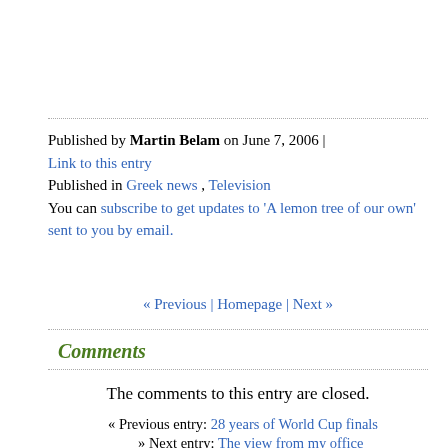Published by Martin Belam on June 7, 2006 | Link to this entry
Published in Greek news , Television
You can subscribe to get updates to 'A lemon tree of our own' sent to you by email.
« Previous | Homepage | Next »
Comments
The comments to this entry are closed.
« Previous entry: 28 years of World Cup finals
» Next entry: The view from my office
Recently posted on 'A lemon tree of our